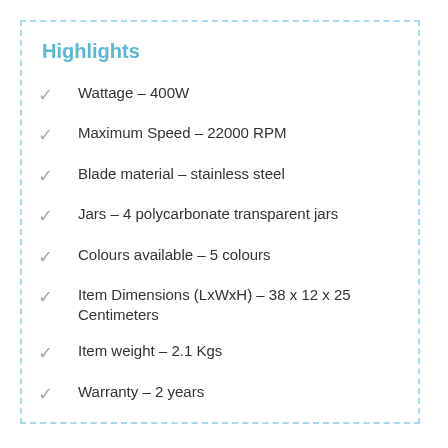Highlights
Wattage – 400W
Maximum Speed – 22000 RPM
Blade material – stainless steel
Jars – 4 polycarbonate transparent jars
Colours available – 5 colours
Item Dimensions (LxWxH) – 38 x 12 x 25 Centimeters
Item weight – 2.1 Kgs
Warranty – 2 years